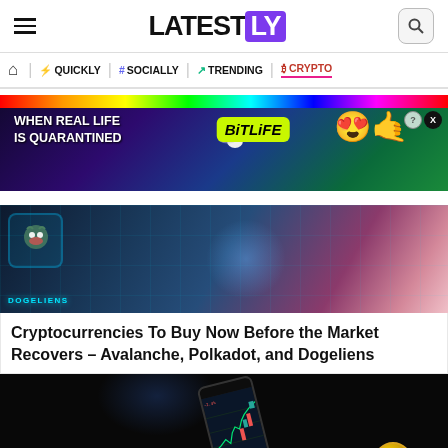LATESTLY
QUICKLY | # SOCIALLY | TRENDING | CRYPTO
[Figure (photo): BitLife advertisement banner with rainbow colors. Text: WHEN REAL LIFE IS QUARANTINED — BitLife with emoji mascots]
[Figure (photo): Dogeliens crypto artwork showing 3D alien dog character in space with grid background and glowing elements]
Cryptocurrencies To Buy Now Before the Market Recovers – Avalanche, Polkadot, and Dogeliens
[Figure (photo): Dark background photo showing a smartphone with cryptocurrency trading chart on screen, with a Bitcoin coin in foreground]